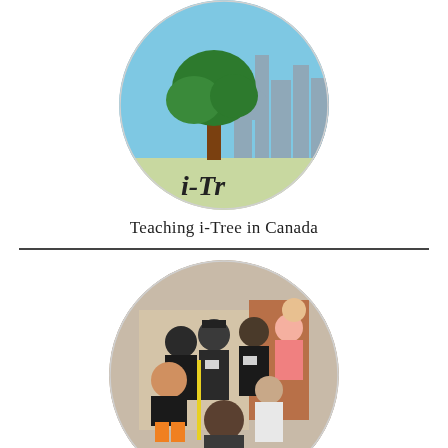[Figure (logo): Circular i-Tree logo showing a large green tree on the left and a grey city skyline on the right with blue sky background, with text 'i-Tr' visible at the bottom]
Teaching i-Tree in Canada
[Figure (photo): Circular photo of a group of adults and children posing together outdoors near a building, some wearing black shirts with name tags; one person in orange shorts holds a measuring tape]
Bringing Fruit Trees to Ronald McDonald House